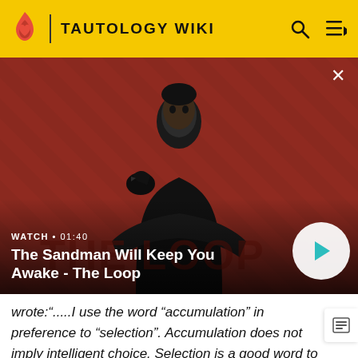TAUTOLOGY WIKI
[Figure (screenshot): Video thumbnail showing a person in dark costume with a raven on their shoulder, against a red diagonal striped background, with text 'The Sandman Will Keep You Awake - The Loop'. WATCH • 01:40]
The Sandman Will Keep You Awake - The Loop
wrote:".....I use the word "accumulation" in preference to "selection". Accumulation does not imply intelligent choice. Selection is a good word to use if you believe g- did it, or if there exist a mathematical patern. There are scientists, evolutionary humanists and evo-psychologists